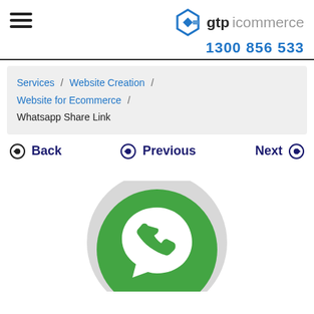gtp icommerce — 1300 856 533
Services / Website Creation / Website for Ecommerce / Whatsapp Share Link
Back   Previous   Next
[Figure (logo): WhatsApp icon/logo partially visible at bottom of page — green circle with white WhatsApp symbol]